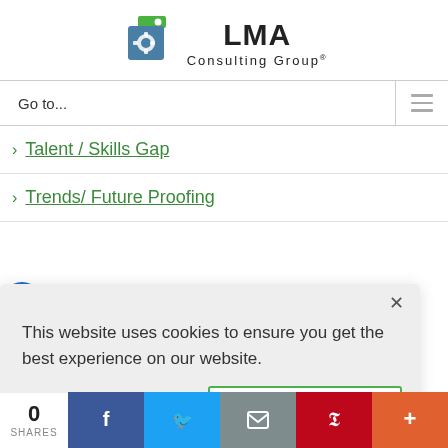[Figure (logo): LMA Consulting Group logo with green and blue geometric icon and company name text]
Go to...
> Talent / Skills Gap
> Trends/ Future Proofing
This website uses cookies to ensure you get the best experience on our website.
Dismiss
Accept
0
SHARES